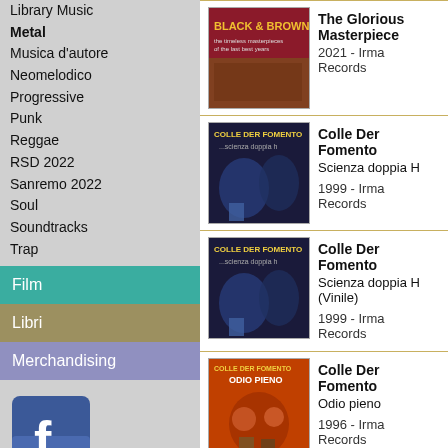Library Music
Metal
Musica d'autore
Neomelodico
Progressive
Punk
Reggae
RSD 2022
Sanremo 2022
Soul
Soundtracks
Trap
Film
Libri
Merchandising
[Figure (logo): Facebook logo icon, blue square with white f]
Spedizione gratuita in Svizzera.
The Glorious Masterpiece
2021 - Irma Records
Colle Der Fomento
Scienza doppia H
1999 - Irma Records
Colle Der Fomento
Scienza doppia H (Vinile)
1999 - Irma Records
Colle Der Fomento
Odio pieno
1996 - Irma Records
Colle Der Fomento
Odio pieno (Vinile)
1996 - Irma Records
Cristiana Polegri
Qualcosa è cambiato Vol...